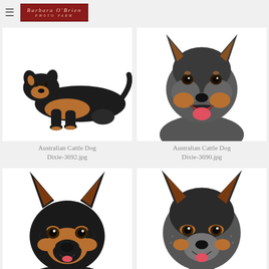Barbara O'Brien Photo Farm
[Figure (photo): Australian Cattle Dog Dixie lying down, black and tan, on white background]
Australian Cattle Dog Dixie-3692.jpg
[Figure (photo): Australian Cattle Dog Dixie face close-up, mouth open smiling, blue heeler, on white background]
Australian Cattle Dog Dixie-3690.jpg
[Figure (photo): Australian Cattle Dog Dixie portrait face, dark black/tan with brown eyes, smiling, on white background]
Australian Cattle Dog Dixie-3689.jpg
[Figure (photo): Australian Cattle Dog Dixie portrait face, blue heeler markings, smiling, on white background]
Australian Cattle Dog Dixie-3688.jpg